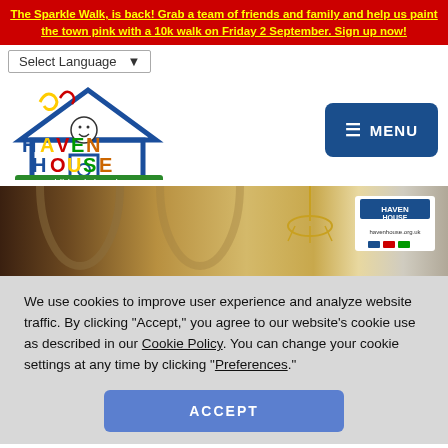The Sparkle Walk, is back! Grab a team of friends and family and help us paint the town pink with a 10k walk on Friday 2 September. Sign up now!
Select Language
[Figure (logo): Haven House children's hospice logo with colourful letters and a smiley face]
[Figure (photo): Interior event photo showing ornate room with chandelier and Haven House branded signage]
We use cookies to improve user experience and analyze website traffic. By clicking “Accept,” you agree to our website’s cookie use as described in our Cookie Policy. You can change your cookie settings at any time by clicking “Preferences.”
ACCEPT